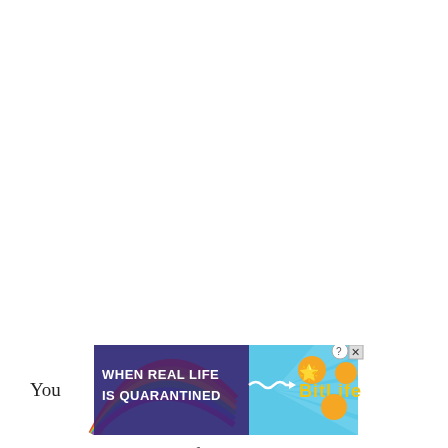[Figure (screenshot): Advertisement banner for BitLife game. Rainbow gradient background with text 'WHEN REAL LIFE IS QUARANTINED' on left, wavy arrow pointing right to 'BitLife' logo text, with animated character emoji (star-eyes face and thumbs-up hand), close and help buttons in top right corner.]
You ... x sung by Calum Scott from the album Only